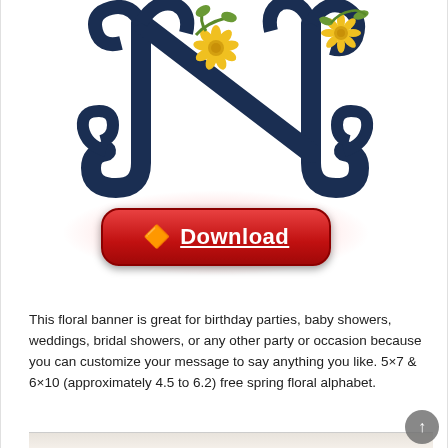[Figure (illustration): Decorative embroidery monogram letter N in dark navy blue with ornate curling flourishes, decorated with yellow daisy flowers and green leaves, on a white background.]
[Figure (other): Red rounded rectangle download button with a yellow arrow emoji and underlined white bold text reading 'Download', surrounded by a red radial glow effect.]
This floral banner is great for birthday parties, baby showers, weddings, bridal showers, or any other party or occasion because you can customize your message to say anything you like. 5×7 & 6×10 (approximately 4.5 to 6.2) free spring floral alphabet.
[Figure (photo): Partial view of a cream/beige textured fabric or linen material, partially cropped at the bottom of the page.]